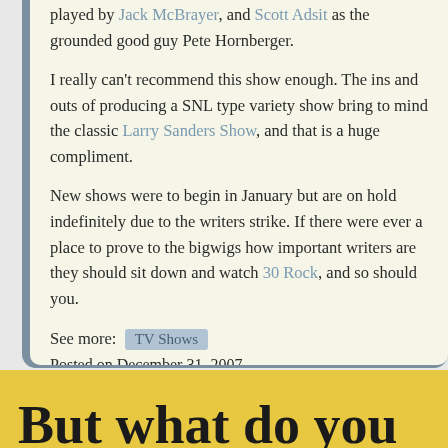played by Jack McBrayer, and Scott Adsit as the grounded good guy Pete Hornberger.
I really can't recommend this show enough. The ins and outs of producing a SNL type variety show bring to mind the classic Larry Sanders Show, and that is a huge compliment.
New shows were to begin in January but are on hold indefinitely due to the writers strike. If there were ever a place to prove to the bigwigs how important writers are they should sit down and watch 30 Rock, and so should you.
See more:  TV Shows
Posted on December 31, 2007
But what do you